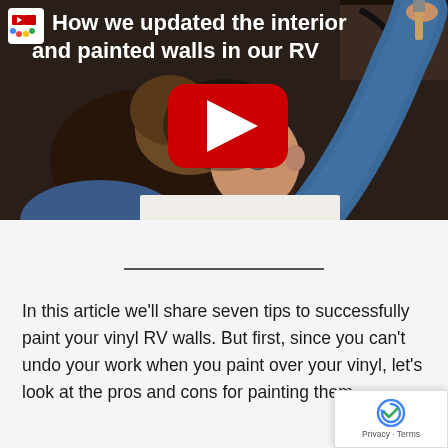[Figure (screenshot): YouTube video thumbnail showing a person with dark hair painting the interior wall of an RV, with their arm raised holding a paint brush. A YouTube play button is overlaid in the center. The title text reads 'How we updated the interior and painted walls in our RV'.]
In this article we'll share seven tips to successfully paint your vinyl RV walls. But first, since you can't undo your work when you paint over your vinyl, let's look at the pros and cons for painting them.